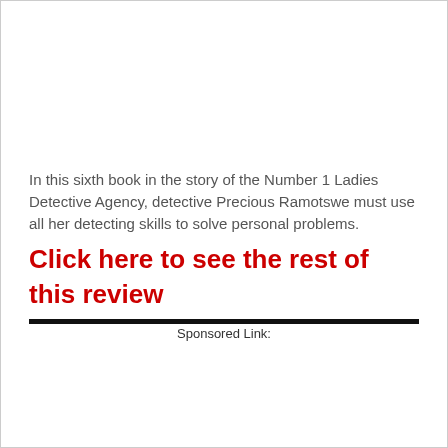In this sixth book in the story of the Number 1 Ladies Detective Agency, detective Precious Ramotswe must use all her detecting skills to solve personal problems.
Click here to see the rest of this review
Sponsored Link: